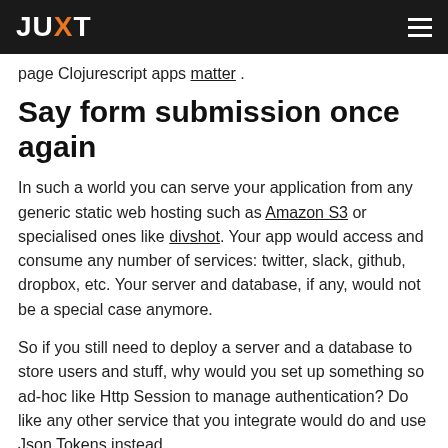JUXT
page Clojurescript apps matter .
Say form submission once again
In such a world you can serve your application from any generic static web hosting such as Amazon S3 or specialised ones like divshot. Your app would access and consume any number of services: twitter, slack, github, dropbox, etc. Your server and database, if any, would not be a special case anymore.
So if you still need to deploy a server and a database to store users and stuff, why would you set up something so ad-hoc like Http Session to manage authentication? Do like any other service that you integrate would do and use Json Tokens instead.